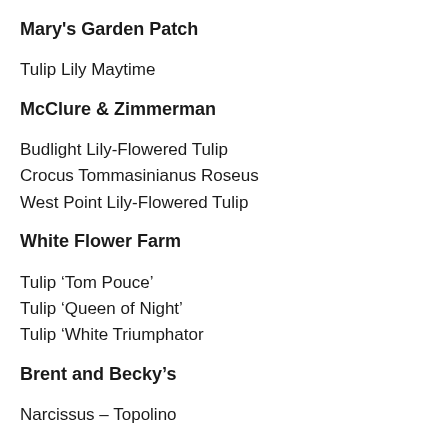Mary's Garden Patch
Tulip Lily Maytime
McClure & Zimmerman
Budlight Lily-Flowered Tulip
Crocus Tommasinianus Roseus
West Point Lily-Flowered Tulip
White Flower Farm
Tulip ‘Tom Pouce’
Tulip ‘Queen of Night’
Tulip ‘White Triumphator
Brent and Becky’s
Narcissus – Topolino